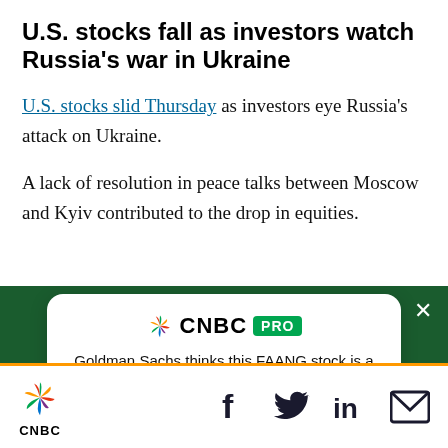U.S. stocks fall as investors watch Russia's war in Ukraine
U.S. stocks slid Thursday as investors eye Russia's attack on Ukraine.
A lack of resolution in peace talks between Moscow and Kyiv contributed to the drop in equities.
[Figure (screenshot): CNBC PRO advertisement overlay on dark green background. White card with CNBC PRO logo, text 'Goldman Sachs thinks this FAANG stock is a sell — and gives it downside of more than 20%', and a green 'SUBSCRIBE NOW' button. Close button (X) in top right corner.]
CNBC logo with peacock icon, social media icons: Facebook, Twitter, LinkedIn, Email